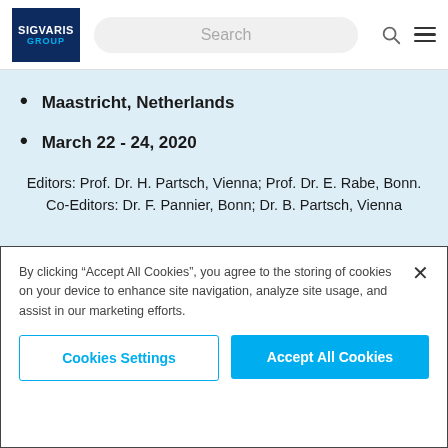SIGVARIS GROUP — navigation bar with search
Maastricht, Netherlands
March 22 - 24, 2020
Editors: Prof. Dr. H. Partsch, Vienna; Prof. Dr. E. Rabe, Bonn. Co-Editors: Dr. F. Pannier, Bonn; Dr. B. Partsch, Vienna
By clicking “Accept All Cookies”, you agree to the storing of cookies on your device to enhance site navigation, analyze site usage, and assist in our marketing efforts.